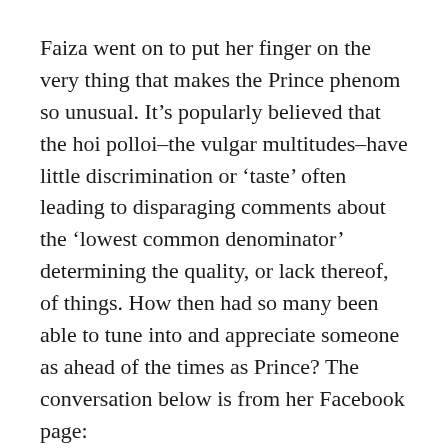Faiza went on to put her finger on the very thing that makes the Prince phenom so unusual. It’s popularly believed that the hoi polloi–the vulgar multitudes–have little discrimination or ‘taste’ often leading to disparaging comments about the ‘lowest common denominator’ determining the quality, or lack thereof, of things. How then had so many been able to tune into and appreciate someone as ahead of the times as Prince? The conversation below is from her Facebook page:
Faiza Sultan Khan: Pleasantly surprised to see that with the exception of about two people